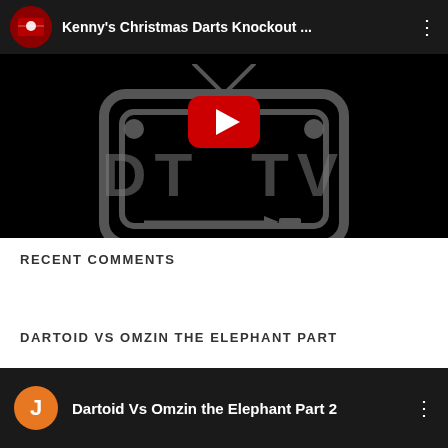[Figure (screenshot): YouTube video thumbnail for Kenny's Christmas Darts Knockout with DT TV logo on black background]
RECENT COMMENTS
DARTOID VS OMZIN THE ELEPHANT PART
[Figure (screenshot): YouTube video thumbnail bar for Dartoid Vs Omzin the Elephant Part 2 with orange J avatar]